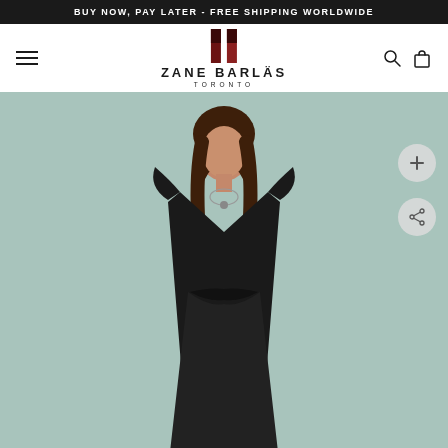BUY NOW, PAY LATER - FREE SHIPPING WORLDWIDE
[Figure (logo): Zane Barläs Toronto brand logo with two vertical bars icon above the brand name]
[Figure (photo): Fashion photo of a woman wearing a black sleeveless dress with structured shoulders on a light teal/sage green background. Two circular action buttons (plus and share) visible on the right side.]